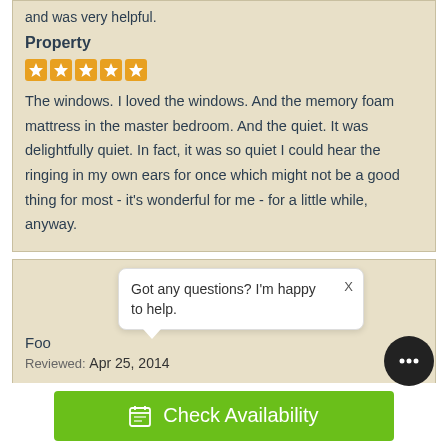and was very helpful.
Property
[Figure (other): 5 orange star rating icons]
The windows. I loved the windows. And the memory foam mattress in the master bedroom. And the quiet. It was delightfully quiet. In fact, it was so quiet I could hear the ringing in my own ears for once which might not be a good thing for most - it's wonderful for me - for a little while, anyway.
Got any questions? I'm happy to help.
Foo
Reviewed: Apr 25, 2014
Check Availability